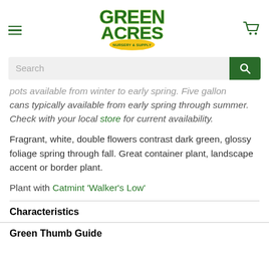Green Acres Nursery & Supply — navigation bar with hamburger menu, logo, and cart icon
Search
pots available from winter to early spring. Five gallon cans typically available from early spring through summer. Check with your local store for current availability.
Fragrant, white, double flowers contrast dark green, glossy foliage spring through fall. Great container plant, landscape accent or border plant.
Plant with Catmint 'Walker's Low'
Characteristics
Green Thumb Guide